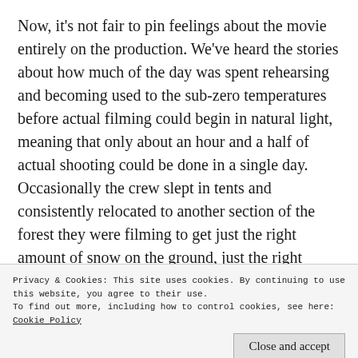Now, it's not fair to pin feelings about the movie entirely on the production. We've heard the stories about how much of the day was spent rehearsing and becoming used to the sub-zero temperatures before actual filming could begin in natural light, meaning that only about an hour and a half of actual shooting could be done in a single day. Occasionally the crew slept in tents and consistently relocated to another section of the forest they were filming to get just the right amount of snow on the ground, just the right amount of lighting.
Privacy & Cookies: This site uses cookies. By continuing to use this website, you agree to their use.
To find out more, including how to control cookies, see here: Cookie Policy
Close and accept
troop of men on a fur-trapping expedition under